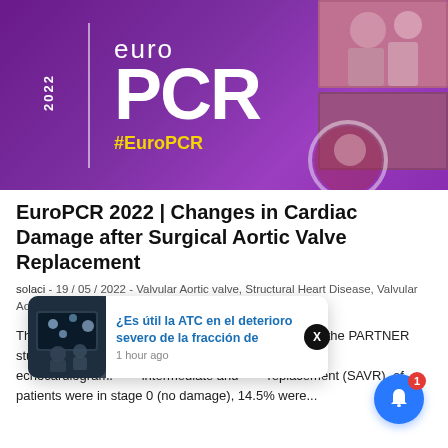[Figure (illustration): EuroPCR 2022 conference banner with purple background, large 'euro PCR' logo in white text, '2022' text vertically on left side, '#EuroPCR' hashtag in yellow, and photo collage of conference attendees on right side]
EuroPCR 2022 | Changes in Cardiac Damage after Surgical Aortic Valve Replacement
solaci - 19 / 05 / 2022 - Valvular Aortic valve, Structural Heart Disease, Valvular Aortic Valve, Structural heart disease
This study presented at EuroPCR 2022 analyzed the PARTNER study pool and included 1974 patients with a complete echocardiogram. intermediate and replacement (SAVR). of patients were in stage 0 (no damage), 14.5% were...
[Figure (screenshot): Popup notification card showing '¿Es útil la ATC en el deterioro severo de la fracción de' with thumbnail image and '1 hour ago' timestamp, plus X close button and blue bell notification button with red badge showing '1']